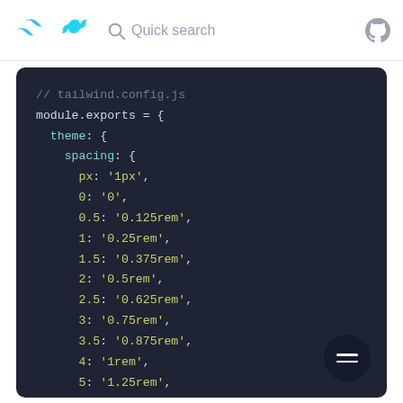Quick search
[Figure (screenshot): Code editor showing tailwind.config.js with spacing configuration in dark theme]